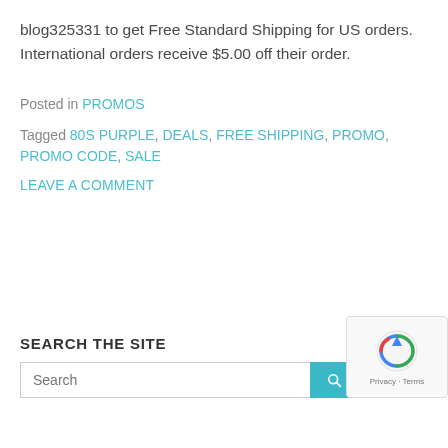blog325331 to get Free Standard Shipping for US orders. International orders receive $5.00 off their order.
Posted in PROMOS
Tagged 80S PURPLE, DEALS, FREE SHIPPING, PROMO, PROMO CODE, SALE
LEAVE A COMMENT
SEARCH THE SITE
[Figure (other): Search input box with teal search button and reCAPTCHA Privacy Terms badge]